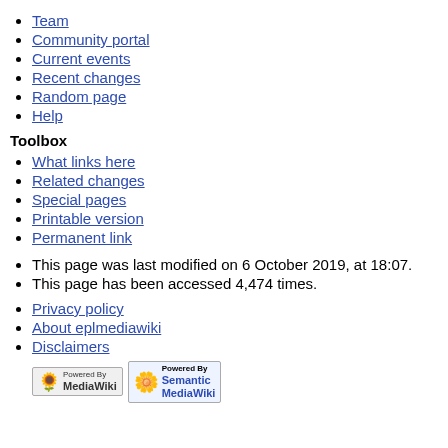Team
Community portal
Current events
Recent changes
Random page
Help
Toolbox
What links here
Related changes
Special pages
Printable version
Permanent link
This page was last modified on 6 October 2019, at 18:07.
This page has been accessed 4,474 times.
Privacy policy
About eplmediawiki
Disclaimers
[Figure (logo): Powered by MediaWiki and Powered by Semantic MediaWiki badges]